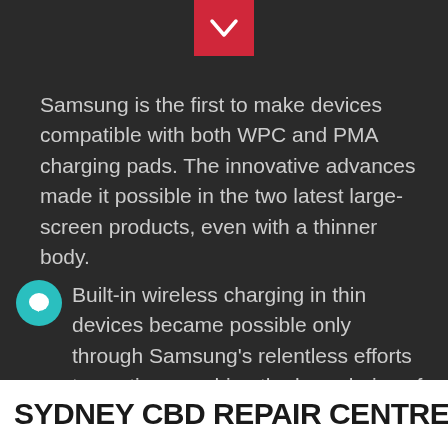[Figure (other): Red chevron/down-arrow button at top center of dark background]
Samsung is the first to make devices compatible with both WPC and PMA charging pads. The innovative advances made it possible in the two latest large-screen products, even with a thinner body.
[Figure (other): Teal circular chat bubble icon on left side]
Built-in wireless charging in thin devices became possible only through Samsung’s relentless efforts to continue pushing the boundaries of technology. Because WPC and PMA have different frequency bandwidths, Samsung’s developers had to find a way to satisfy both, with high efficiency. To accomplish this, they designed a new integrated IC for wireless charging, combining two
SYDNEY CBD REPAIR CENTRE MENU ≡